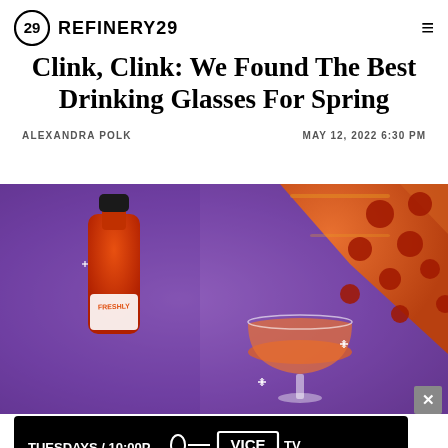REFINERY29
Clink, Clink: We Found The Best Drinking Glasses For Spring
ALEXANDRA POLK
MAY 12, 2022 6:30 PM
[Figure (photo): Photo of a hot sauce bottle labeled 'Freshly' next to a coupe glass filled with red/orange liquid, with a pepperoni pizza slice being dipped in, set against a purple background. An advertisement banner for VICE TV appears at the bottom showing 'TUESDAYS / 10:00P' with a microphone graphic.]